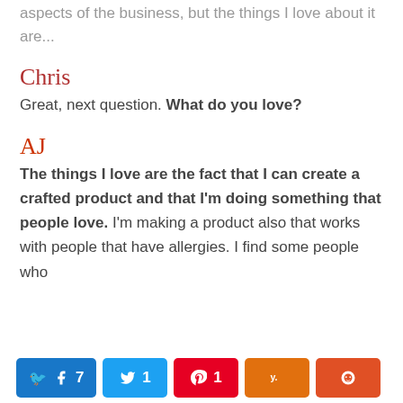aspects of the business, but the things I love about it are...
Chris
Great, next question. What do you love?
AJ
The things I love are the fact that I can create a crafted product and that I'm doing something that people love. I'm making a product also that works with people that have allergies. I find some people who
Facebook 7 | Twitter 1 | Pinterest 1 | Yummly | Reddit